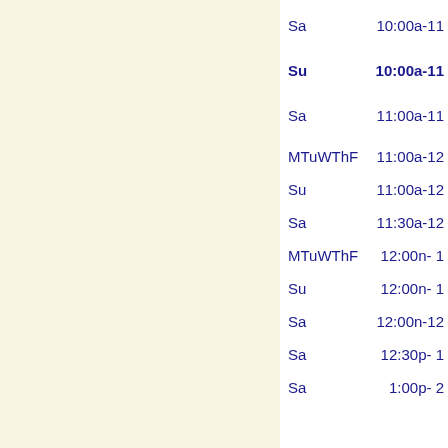| Day | Time |
| --- | --- |
| Sa | 10:00a-11 |
| Su | 10:00a-11 |
| Sa | 11:00a-11 |
| MTuWThF | 11:00a-12 |
| Su | 11:00a-12 |
| Sa | 11:30a-12 |
| MTuWThF | 12:00n- 1 |
| Su | 12:00n- 1 |
| Sa | 12:00n-12 |
| Sa | 12:30p- 1 |
| Sa | 1:00p- 2 |